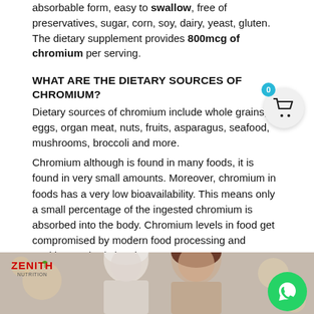absorbable form, easy to swallow, free of preservatives, sugar, corn, soy, dairy, yeast, gluten. The dietary supplement provides 800mcg of chromium per serving.
WHAT ARE THE DIETARY SOURCES OF CHROMIUM?
Dietary sources of chromium include whole grains, eggs, organ meat, nuts, fruits, asparagus, seafood, mushrooms, broccoli and more.
Chromium although is found in many foods, it is found in very small amounts. Moreover, chromium in foods has a very low bioavailability. This means only a small percentage of the ingested chromium is absorbed into the body. Chromium levels in food get compromised by modern food processing and cooking methods by about 80%.
SYMPTOMS OF DEFICIENCY OF CHROMIUM
[Figure (photo): Photo of two people (elderly man and younger woman) with Zenith Nutrition logo overlay at bottom left]